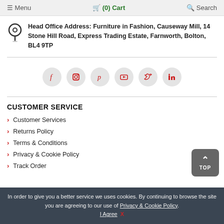≡ Menu   🛒 (0) Cart   🔍 Search
Head Office Address: Furniture in Fashion, Causeway Mill, 14 Stone Hill Road, Express Trading Estate, Farnworth, Bolton, BL4 9TP
[Figure (infographic): Social media icons row: Facebook, Instagram, Pinterest, YouTube, Twitter, LinkedIn — each in a light gray circle with red icon]
CUSTOMER SERVICE
Customer Services
Returns Policy
Terms & Conditions
Privacy & Cookie Policy
Track Order
In order to give you a better service we uses cookies. By continuing to browse the site you are agreeing to our use of Privacy & Cookie Policy. I Agree  X